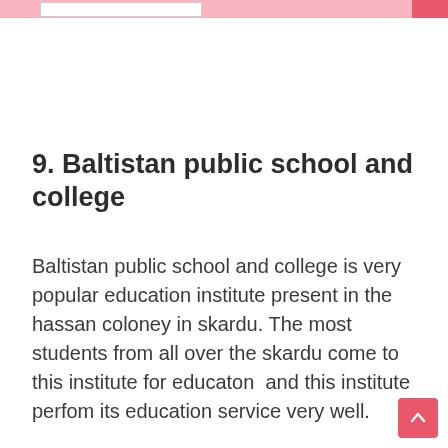9. Baltistan public school and college
Baltistan public school and college is very popular education institute present in the hassan coloney in skardu. The most students from all over the skardu come to this institute for educaton  and this institute perfom its education service very well.